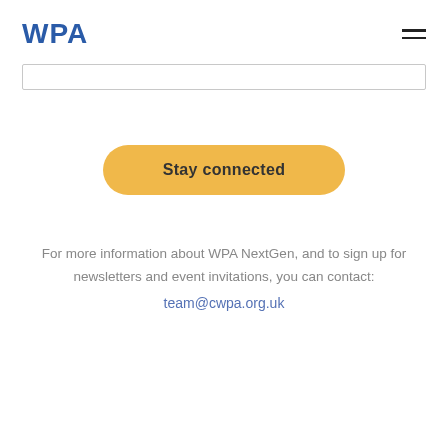WPA
[Figure (screenshot): Search bar input field]
[Figure (screenshot): Stay connected button — golden/yellow rounded pill button]
For more information about WPA NextGen, and to sign up for newsletters and event invitations, you can contact:
team@cwpa.org.uk